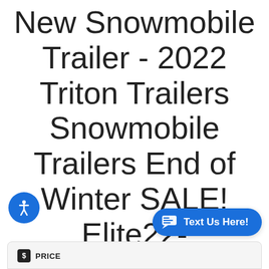New Snowmobile Trailer - 2022 Triton Trailers Snowmobile Trailers End of Winter SALE! Elite22-101EB/SBD 4 Place Snow
2022 Triton Elite22-101EB/SBD 4 Place Snowmobile Trailer
$ PRICE
Text Us Here!